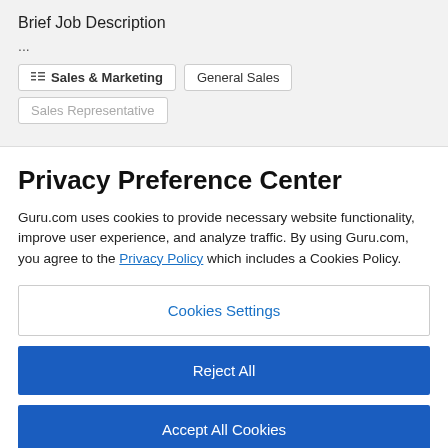Brief Job Description
...
Sales & Marketing
General Sales
Sales Representative
Privacy Preference Center
Guru.com uses cookies to provide necessary website functionality, improve user experience, and analyze traffic. By using Guru.com, you agree to the Privacy Policy which includes a Cookies Policy.
Cookies Settings
Reject All
Accept All Cookies